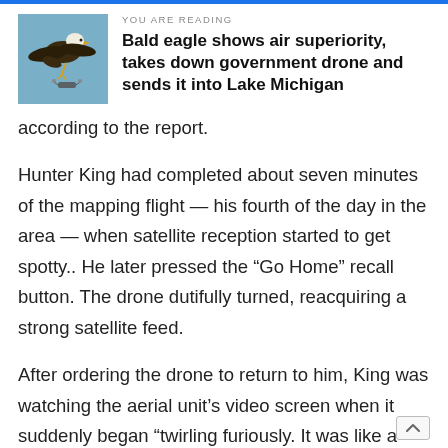YOU ARE READING
Bald eagle shows air superiority, takes down government drone and sends it into Lake Michigan
[Figure (photo): Photo of a bald eagle in flight against a blue sky, appearing to attack a drone below it]
according to the report.
Hunter King had completed about seven minutes of the mapping flight — his fourth of the day in the area — when satellite reception started to get spotty.. He later pressed the “Go Home” recall button. The drone dutifully turned, reacquiring a strong satellite feed.
After ordering the drone to return to him, King was watching the aerial unit’s video screen when it suddenly began “twirling furiously. It was like a really